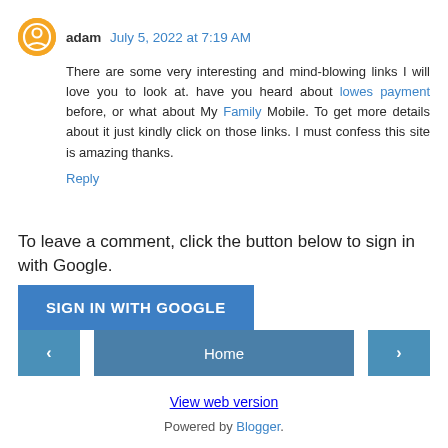adam July 5, 2022 at 7:19 AM
There are some very interesting and mind-blowing links I will love you to look at. have you heard about lowes payment before, or what about My Family Mobile. To get more details about it just kindly click on those links. I must confess this site is amazing thanks.
Reply
To leave a comment, click the button below to sign in with Google.
SIGN IN WITH GOOGLE
Home
View web version
Powered by Blogger.